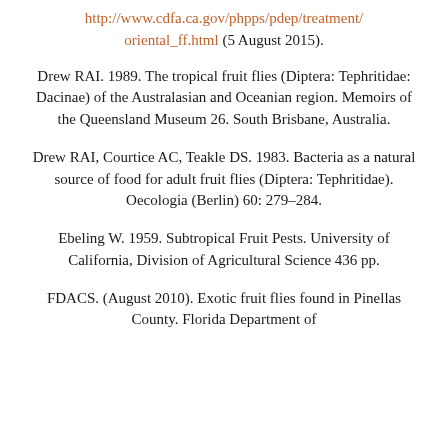http://www.cdfa.ca.gov/phpps/pdep/treatment/oriental_ff.html (5 August 2015).
Drew RAI. 1989. The tropical fruit flies (Diptera: Tephritidae: Dacinae) of the Australasian and Oceanian region. Memoirs of the Queensland Museum 26. South Brisbane, Australia.
Drew RAI, Courtice AC, Teakle DS. 1983. Bacteria as a natural source of food for adult fruit flies (Diptera: Tephritidae). Oecologia (Berlin) 60: 279–284.
Ebeling W. 1959. Subtropical Fruit Pests. University of California, Division of Agricultural Science 436 pp.
FDACS. (August 2010). Exotic fruit flies found in Pinellas County. Florida Department of